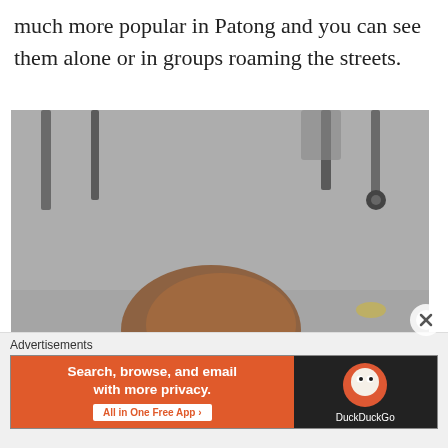much more popular in Patong and you can see them alone or in groups roaming the streets.
[Figure (photo): A brown dog with a collar curled up sleeping on a concrete floor, surrounded by chair legs and furniture.]
Advertisements
[Figure (screenshot): DuckDuckGo advertisement banner: 'Search, browse, and email with more privacy. All in One Free App' on orange background with DuckDuckGo logo on dark background.]